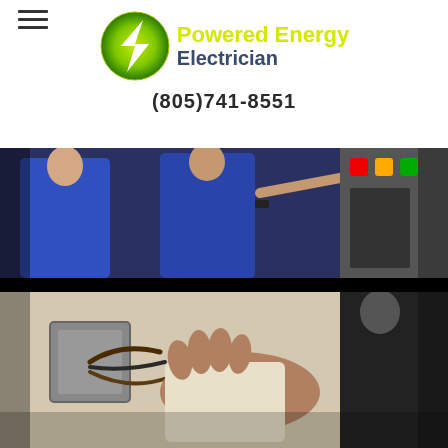[Figure (logo): Powered Energy Electrician logo with green/yellow lightning bolt circle icon]
Powered Energy Electrician
(805)741-8551
[Figure (photo): Two electricians in blue uniforms examining an electrical control panel]
[Figure (photo): Electrician's hands working on wall electrical outlet wiring]